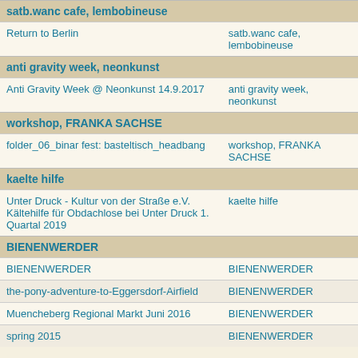satb.wanc cafe, lembobineuse
| Return to Berlin | satb.wanc cafe, lembobineuse |
anti gravity week, neonkunst
| Anti Gravity Week @ Neonkunst 14.9.2017 | anti gravity week, neonkunst |
workshop, FRANKA SACHSE
| folder_06_binar fest: basteltisch_headbang | workshop, FRANKA SACHSE |
kaelte hilfe
| Unter Druck - Kultur von der Straße e.V. Kältehilfe für Obdachlose bei Unter Druck 1. Quartal 2019 | kaelte hilfe |
BIENENWERDER
| BIENENWERDER | BIENENWERDER |
| the-pony-adventure-to-Eggersdorf-Airfield | BIENENWERDER |
| Muencheberg Regional Markt Juni 2016 | BIENENWERDER |
| spring 2015 | BIENENWERDER |